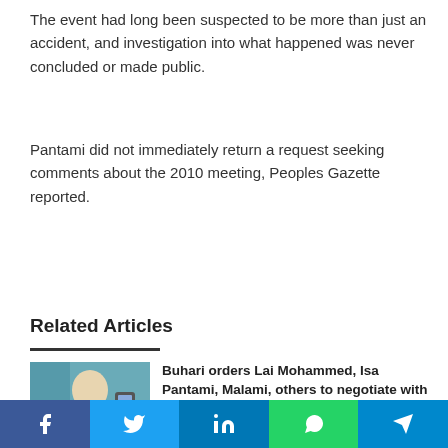The event had long been suspected to be more than just an accident, and investigation into what happened was never concluded or made public.
Pantami did not immediately return a request seeking comments about the 2010 meeting, Peoples Gazette reported.
Related Articles
[Figure (photo): Photo of a man in white garment holding a phone, speaking at an event]
Buhari orders Lai Mohammed, Isa Pantami, Malami, others to negotiate with Twitter
June 22, 2021
[Figure (photo): Photo of two men in traditional Nigerian attire]
Jerry Gana threatens to sue Sultan of Sokoto for 'lying about Boko Haram'
Facebook Twitter LinkedIn WhatsApp Telegram